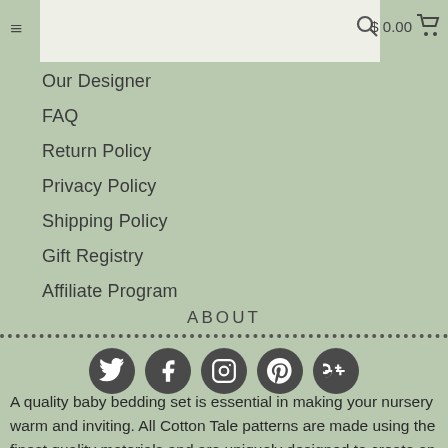☰   $ 0.00 🛒
Our Designer
FAQ
Return Policy
Privacy Policy
Shipping Policy
Gift Registry
Affiliate Program
ABOUT
[Figure (infographic): Social media icons: Twitter, Facebook, Instagram, Pinterest, Google+]
A quality baby bedding set is essential in making your nursery warm and inviting. All Cotton Tale patterns are made using the finest quality materials and are uniquely designed to create an elegant and sophisticated nursery. From her signature Collections to piecing together unique and original patterns and